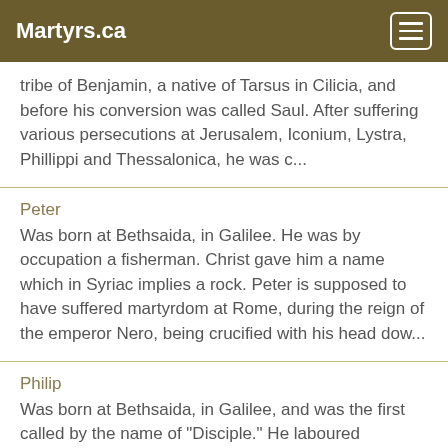Martyrs.ca
tribe of Benjamin, a native of Tarsus in Cilicia, and before his conversion was called Saul. After suffering various persecutions at Jerusalem, Iconium, Lystra, Phillippi and Thessalonica, he was c...
Peter
Was born at Bethsaida, in Galilee. He was by occupation a fisherman. Christ gave him a name which in Syriac implies a rock. Peter is supposed to have suffered martyrdom at Rome, during the reign of the emperor Nero, being crucified with his head dow...
Philip
Was born at Bethsaida, in Galilee, and was the first called by the name of "Disciple." He laboured diligently in Upper Asia, and suffered martyrdom at Heliopolis, in Phrygia. He was scourged, thrown into prison, and afterwards crucified, A. D. 54. ...